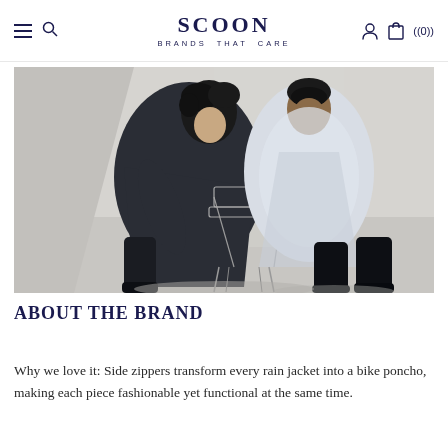SCOON BRANDS THAT CARE — navigation bar with hamburger menu, search, account, and cart icons
[Figure (photo): Two models sitting back-to-back on a wire chair against a white minimalist background. The model on the left wears a dark navy/black long coat and black tall boots. The model on the right wears a white/silver long rain jacket and black tall boots.]
ABOUT THE BRAND
Why we love it: Side zippers transform every rain jacket into a bike poncho, making each piece fashionable yet functional at the same time.